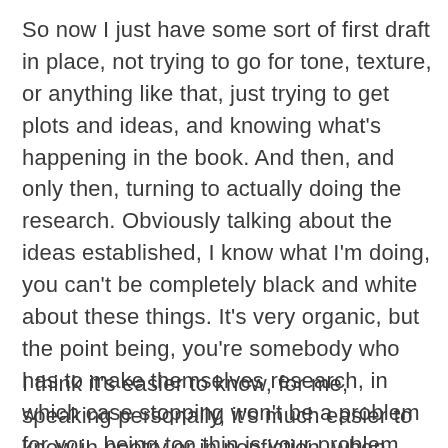So now I just have some sort of first draft in place, not trying to go for tone, texture, or anything like that, just trying to get plots and ideas, and knowing what's happening in the book. And then, and only then, turning to actually doing the research. Obviously talking about the ideas established, I know what I'm doing, you can't be completely black and white about these things. It's very organic, but the point being, you're somebody who has to make themselves research, in which case stopping won't be a problem for you, being too thin is your problem. I'm the opposite. Therefore I have to limit what I do.
I think it's easier to know, for me, speaking personally, it's much easier to know in poetry or in nonfiction, when enough is enough. I feel it, I know